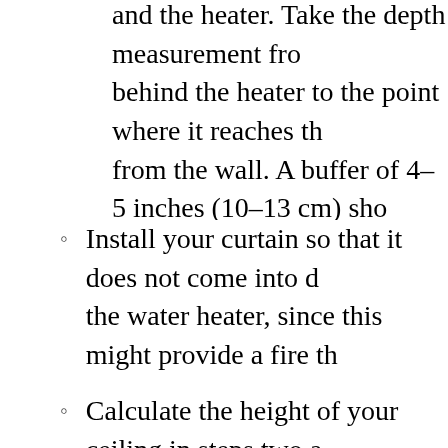and the heater. Take the depth measurement from behind the heater to the point where it reaches the wall. A buffer of 4–5 inches (10–13 cm) should be added to the measurement to account for errors.
Install your curtain so that it does not come into direct contact with the water heater, since this might provide a fire threat.
Calculate the height of your ceiling in steps two and three: measure from the floor near your water heater to the ceiling. Set the bottom of the tape measure and draw it straight upward, making certain that the measuring tape is absolutely vertical or the measurement will be incorrect. Make a note of your measurements so that you don't forget it and so that you know how tall the curtain should be. 3 Purchase ceiling curtain track that is the same length as the combined width and depth of the room or alcove. With a curtain track, you may hang a curtain from a rail that is made of metal. Purchase a piece of track to be in